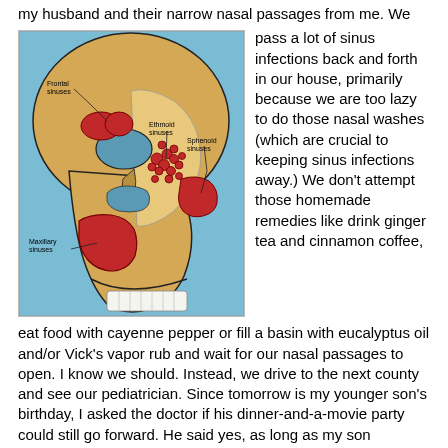my husband and their narrow nasal passages from me. We pass a lot of sinus infections back and forth in our house, primarily because we are too lazy to do those nasal washes (which are crucial to keeping sinus infections away.) We don't attempt those homemade remedies like drink ginger tea and cinnamon coffee, eat food with cayenne pepper or fill a basin with eucalyptus oil and/or Vick's vapor rub and wait for our nasal passages to open. I know we should. Instead, we drive to the next county and see our pediatrician. Since tomorrow is my younger son's birthday, I asked the doctor if his dinner-and-a-movie party could still go forward. He said yes, as long as my son
[Figure (illustration): Anatomical illustration of a human skull in cross-section showing sinus cavities including Frontal sinuses (labeled, upper left), Ethmoid sinuses (labeled, center), Sphenoid sinuses (labeled, right center), and Maxillary sinuses (labeled, lower left). The illustration uses yellow/tan colors for bone, red for highlighted sinus cavities, against a blue background.]